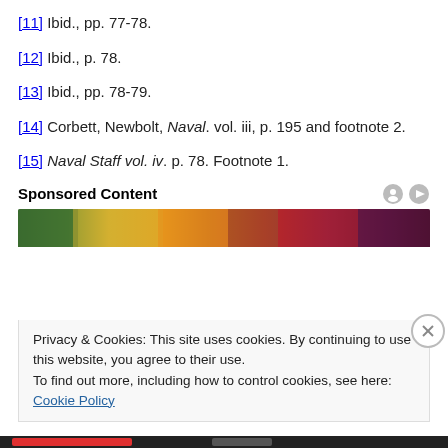[11] Ibid., pp. 77-78.
[12] Ibid., p. 78.
[13] Ibid., pp. 78-79.
[14] Corbett, Newbolt, Naval. vol. iii, p. 195 and footnote 2.
[15] Naval Staff vol. iv. p. 78. Footnote 1.
Sponsored Content
[Figure (photo): Food photograph showing vegetables, bananas, mango, bowl of spices, strawberries, and other colorful foods]
Privacy & Cookies: This site uses cookies. By continuing to use this website, you agree to their use.
To find out more, including how to control cookies, see here: Cookie Policy
Close and accept